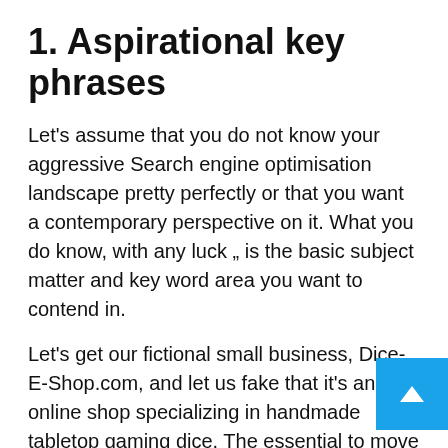1. Aspirational key phrases
Let's assume that you do not know your aggressive Search engine optimisation landscape pretty perfectly or that you want a contemporary perspective on it. What you do know, with any luck „ is the basic subject matter and key word area you want to contend in.
Let's get our fictional small business, Dice-E-Shop.com, and let us fake that it's an online shop specializing in handmade tabletop gaming dice. The essential to move a single is currently being aspirational but reasonable — no vainness keywords permitted.